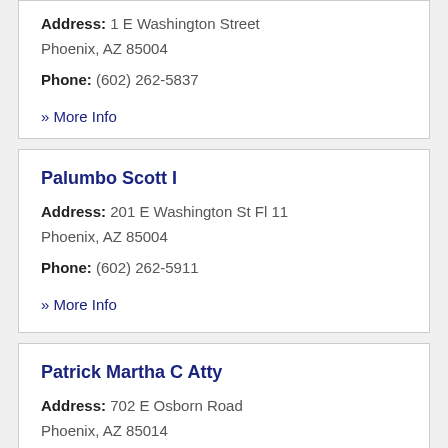Address: 1 E Washington Street
Phoenix, AZ 85004
Phone: (602) 262-5837
» More Info
Palumbo Scott I
Address: 201 E Washington St Fl 11
Phoenix, AZ 85004
Phone: (602) 262-5911
» More Info
Patrick Martha C Atty
Address: 702 E Osborn Road
Phoenix, AZ 85014